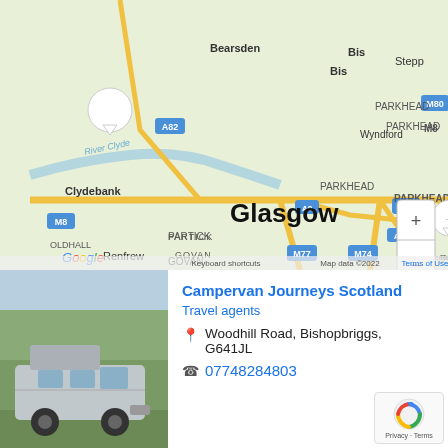[Figure (map): Google Map showing Glasgow area including Clydebank, Bearsden, Wyndford, Renfrew, Partick, Govan, Bishopbriggs, Parkhead, Stepps areas. Shows motorways M8, M74, M77, M80, A82, A8, A74 roads. Multiple business location pins including G&J, and other markers. Zoom controls visible on right. Google logo and copyright 2022 text at bottom.]
[Figure (photo): Photo of a silver campervan with a raised roof parked outdoors among trees.]
Campervan Journeys Scotland
Travel agents
Woodhill Road, Bishopbriggs, G641JL
07748284803